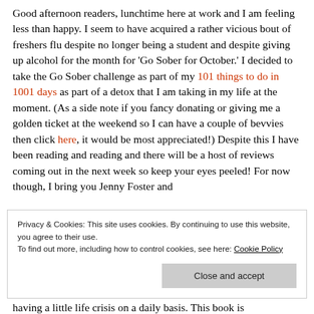Good afternoon readers, lunchtime here at work and I am feeling less than happy. I seem to have acquired a rather vicious bout of freshers flu despite no longer being a student and despite giving up alcohol for the month for 'Go Sober for October.' I decided to take the Go Sober challenge as part of my 101 things to do in 1001 days as part of a detox that I am taking in my life at the moment. (As a side note if you fancy donating or giving me a golden ticket at the weekend so I can have a couple of bevvies then click here, it would be most appreciated!) Despite this I have been reading and reading and there will be a host of reviews coming out in the next week so keep your eyes peeled! For now though, I bring you Jenny Foster and
Privacy & Cookies: This site uses cookies. By continuing to use this website, you agree to their use. To find out more, including how to control cookies, see here: Cookie Policy
having a little life crisis on a daily basis. This book is